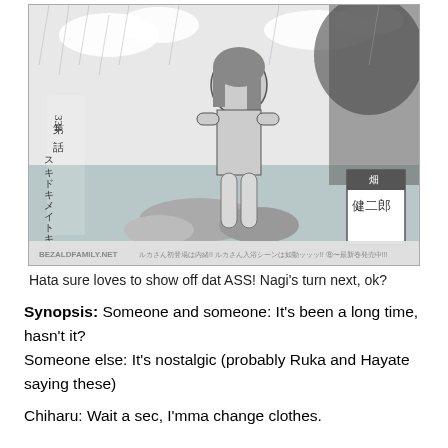[Figure (illustration): Black and white manga illustration showing a female character (Ruka) sitting on rocks near water in the rain, with Japanese text including chapter number 第334話 スキドキメイトキス and watermark BEZALDFAMILY.NET]
Hata sure loves to show off dat ASS! Nagi's turn next, ok?
Synopsis: Someone and someone: It's been a long time, hasn't it?
Someone else: It's nostalgic (probably Ruka and Hayate saying these)
Chiharu: Wait a sec, I'mma change clothes.